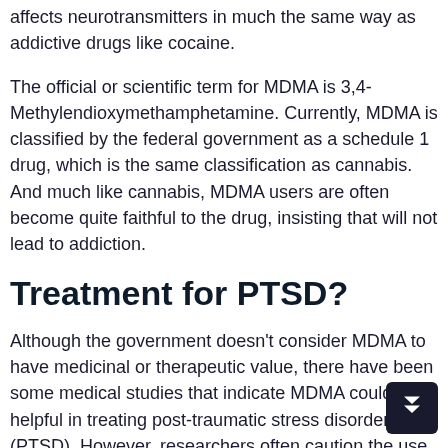affects neurotransmitters in much the same way as addictive drugs like cocaine.
The official or scientific term for MDMA is 3,4-Methylendioxymethamphetamine. Currently, MDMA is classified by the federal government as a schedule 1 drug, which is the same classification as cannabis. And much like cannabis, MDMA users are often become quite faithful to the drug, insisting that will not lead to addiction.
Treatment for PTSD?
Although the government doesn't consider MDMA to have medicinal or therapeutic value, there have been some medical studies that indicate MDMA could be helpful in treating post-traumatic stress disorder (PTSD). However, researchers often caution the use of